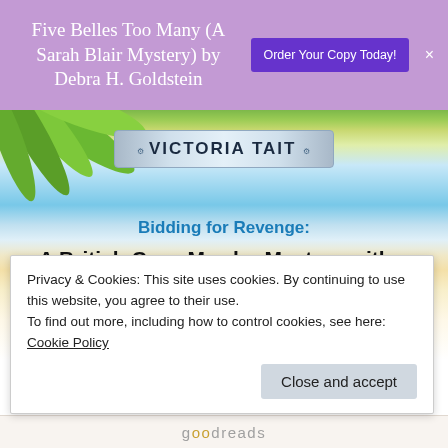Five Belles Too Many (A Sarah Blair Mystery) by Debra H. Goldstein
[Figure (screenshot): Purple promotional banner with book title and 'Order Your Copy Today!' button]
[Figure (illustration): Beach background with palm leaves and turquoise ocean water]
[Figure (logo): Victoria Tait decorative banner/logo with scrollwork]
Bidding for Revenge:
A British Cozy Murder Mystery with a Female Amateur Sleuth (A Dotty Sayers Antique Mystery) by Victoria Tait
Privacy & Cookies: This site uses cookies. By continuing to use this website, you agree to their use.
To find out more, including how to control cookies, see here:
Cookie Policy
[Figure (logo): Goodreads logo at bottom of page]